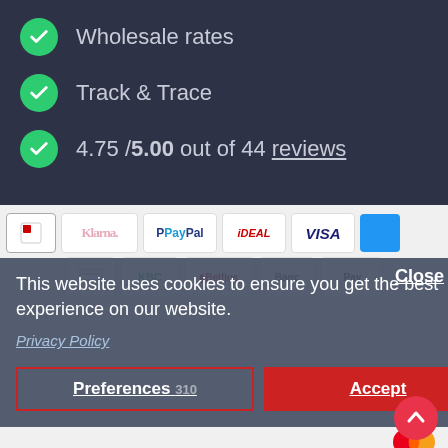Wholesale rates
Track & Trace
4.75 /5.00 out of 44 reviews
[Figure (screenshot): Payment method icons including Klarna, PayPal, iDEAL, VISA, Mastercard, and others]
Close
This website uses cookies to ensure you get the best experience on our website.
Privacy Policy
Preferences
Accept